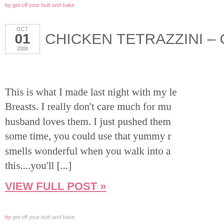by get off your butt and bake
CHICKEN TETRAZZINI – Oh So
This is what I made last night with my le Breasts. I really don't care much for mu husband loves them. I just pushed them some time, you could use that yummy r smells wonderful when you walk into a this....you'll [...]
VIEW FULL POST »
by get off your butt and bake